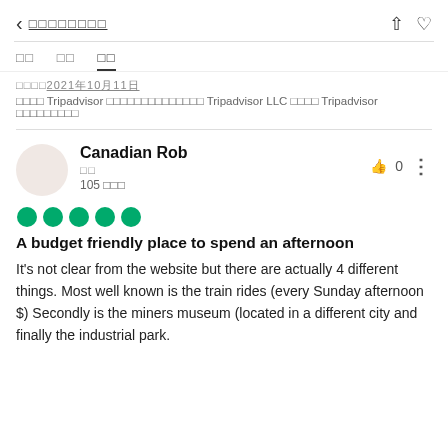< □□□□□□□□
□□  □□  □□
□□□□□2021年10月11日
□□□□ Tripadvisor □□□□□□□□□□□□□□ Tripadvisor LLC □□□□ Tripadvisor □□□□□□□□□
Canadian Rob
□□
105 □□□
[Figure (other): Five green filled circles representing a 5-star rating]
A budget friendly place to spend an afternoon
It's not clear from the website but there are actually 4 different things. Most well known is the train rides (every Sunday afternoon $) Secondly is the miners museum (located in a different city and finally the industrial park.